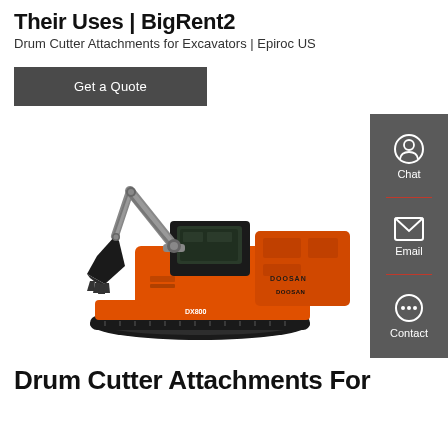Their Uses | BigRent2
Drum Cutter Attachments for Excavators | Epiroc US
Get a Quote
[Figure (photo): Large orange Doosan DX800 tracked excavator with bucket attachment on white background. Sidebar with Chat, Email, and Contact buttons on gray background.]
Drum Cutter Attachments For